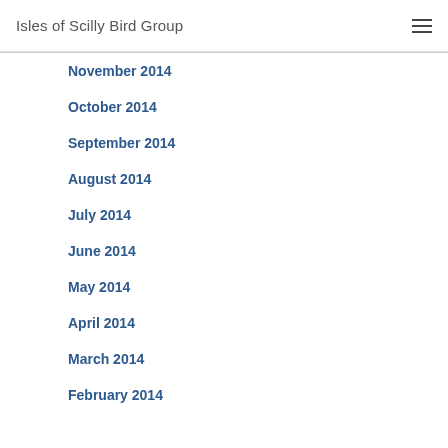Isles of Scilly Bird Group
November 2014
October 2014
September 2014
August 2014
July 2014
June 2014
May 2014
April 2014
March 2014
February 2014